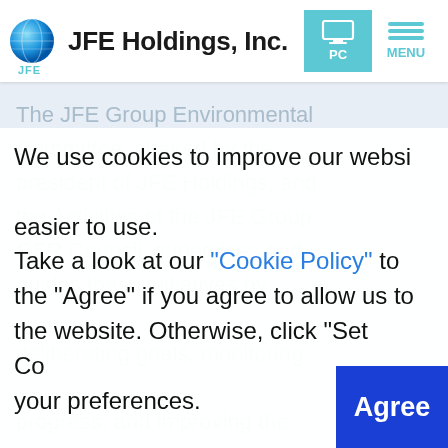JFE Holdings, Inc.
The JFE Group Environmental Committee, chaired by the president of JFE Holdings, and the CSR Council, supervises and guides these initiatives by deliberating goals, monitoring progress, and improving the Group's overall environmental
We use cookies to improve our website and make it easier to use. Take a look at our "Cookie Policy" to learn more, and click the "Agree" if you agree to allow us to use cookies on the website. Otherwise, click "Set Cookie" to set your preferences.